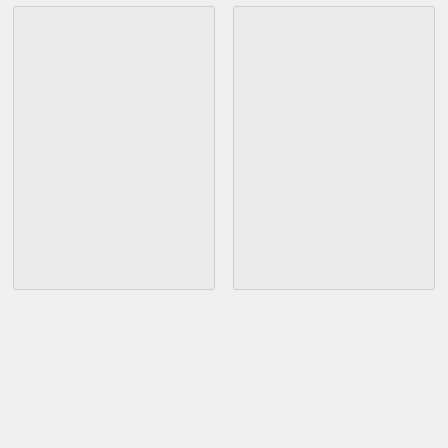[Figure (other): Two side-by-side light gray placeholder card boxes on a light gray background]
[Figure (photo): Blurred close-up photo of metalsmith jewelry work with brown, teal and blue tones, with overlaid text 'Etho Metalsmith Association' and a circular chat icon]
Etho Metalsmith Association